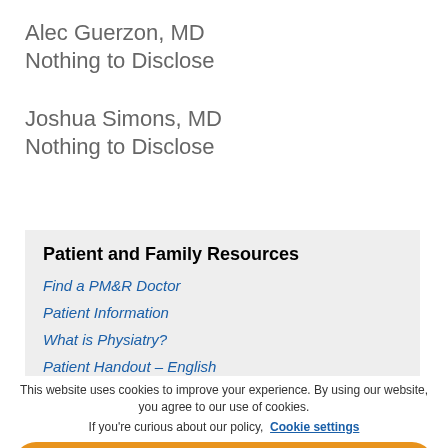Alec Guerzon, MD
Nothing to Disclose
Joshua Simons, MD
Nothing to Disclose
Patient and Family Resources
Find a PM&R Doctor
Patient Information
What is Physiatry?
Patient Handout – English
This website uses cookies to improve your experience. By using our website, you agree to our use of cookies.
If you're curious about our policy, Cookie settings
ACCEPT